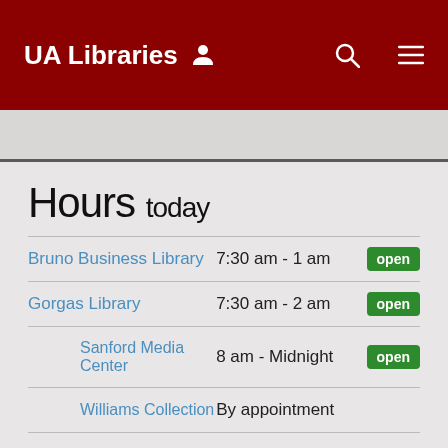UA Libraries
Hours today
| Library | Hours | Status |
| --- | --- | --- |
| Bruno Business Library | 7:30 am - 1 am | open |
| Gorgas Library | 7:30 am - 2 am | open |
| Sanford Media Center | 8 am - Midnight | open |
| Williams Collection | By appointment |  |
| Hoole Special Collections | 9 am - 8 pm | open |
| McLure Education Library | 7:30 am - Midnight | open |
| Rodgers Library | 7:30 am - 2 am | open |